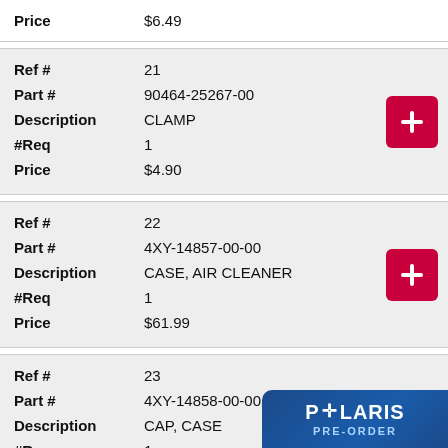| Price | $6.49 |
| Ref # | 21 |
| Part # | 90464-25267-00 |
| Description | CLAMP |
| #Req | 1 |
| Price | $4.90 |
| Ref # | 22 |
| Part # | 4XY-14857-00-00 |
| Description | CASE, AIR CLEANER |
| #Req | 1 |
| Price | $61.99 |
| Ref # | 23 |
| Part # | 4XY-14858-00-00 |
| Description | CAP, CASE |
| #Req | 1 |
| Price | $76.99 |
[Figure (logo): Polaris Pre-Order badge, dark blue rounded rectangle with POLARIS text and PRE-ORDER subtitle]